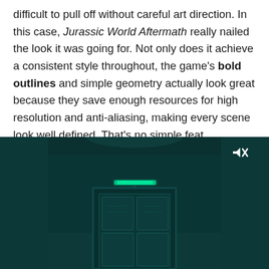difficult to pull off without careful art direction. In this case, Jurassic World Aftermath really nailed the look it was going for. Not only does it achieve a consistent style throughout, the game's bold outlines and simple geometry actually look great because they save enough resources for high resolution and anti-aliasing, making every scene look well defined. That's no simple feat considering the game mostly consists of dilapidated interior environments.
[Figure (screenshot): Screenshot from Jurassic World Aftermath game showing a dark teal-colored interior environment with a door featuring decorative panels, a glowing green horizontal bar above the door, and a muted speaker icon in the top-right corner.]